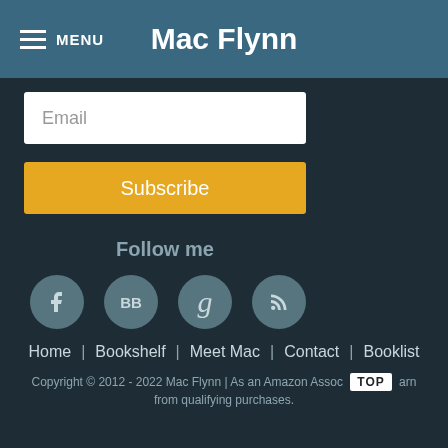MENU  Mac Flynn
Email
Subscribe
Follow me
[Figure (other): Four social media icons in circles: Facebook (f), BookBub (BB), Goodreads (g), RSS feed]
Home | Bookshelf | Meet Mac | Contact | Booklist
Copyright © 2012 - 2022 Mac Flynn | As an Amazon Assoc  TOP  arn from qualifying purchases.